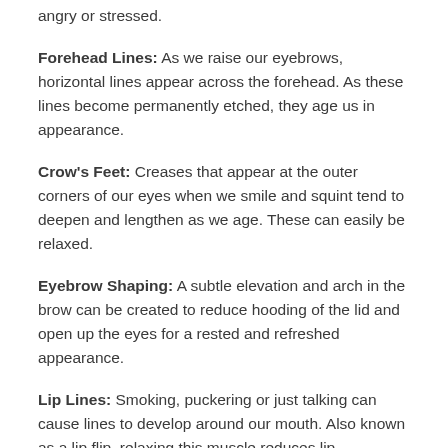angry or stressed.
Forehead Lines: As we raise our eyebrows, horizontal lines appear across the forehead. As these lines become permanently etched, they age us in appearance.
Crow's Feet: Creases that appear at the outer corners of our eyes when we smile and squint tend to deepen and lengthen as we age. These can easily be relaxed.
Eyebrow Shaping: A subtle elevation and arch in the brow can be created to reduce hooding of the lid and open up the eyes for a rested and refreshed appearance.
Lip Lines: Smoking, puckering or just talking can cause lines to develop around our mouth. Also known as a lip flip, relaxing this muscle reduces lip